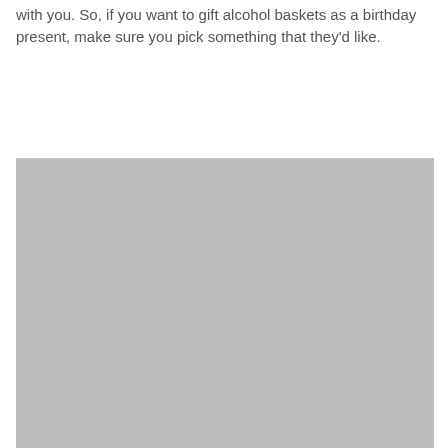with you. So, if you want to gift alcohol baskets as a birthday present, make sure you pick something that they'd like.
[Figure (photo): A large grey placeholder image block occupying the lower portion of the page.]